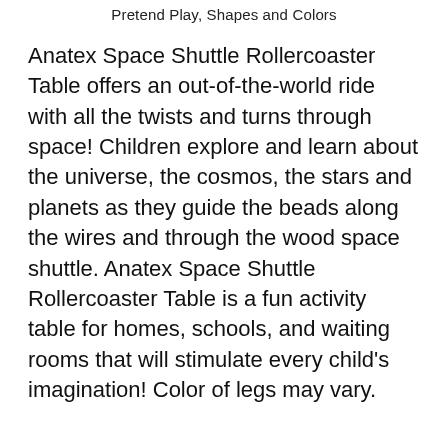Pretend Play, Shapes and Colors
Anatex Space Shuttle Rollercoaster Table offers an out-of-the-world ride with all the twists and turns through space! Children explore and learn about the universe, the cosmos, the stars and planets as they guide the beads along the wires and through the wood space shuttle. Anatex Space Shuttle Rollercoaster Table is a fun activity table for homes, schools, and waiting rooms that will stimulate every child's imagination! Color of legs may vary.